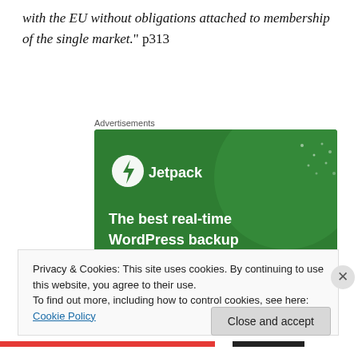with the EU without obligations attached to membership of the single market.” p313
Advertisements
[Figure (illustration): Jetpack advertisement banner with green background showing logo and text: 'The best real-time WordPress backup plugin']
Privacy & Cookies: This site uses cookies. By continuing to use this website, you agree to their use.
To find out more, including how to control cookies, see here: Cookie Policy
Close and accept